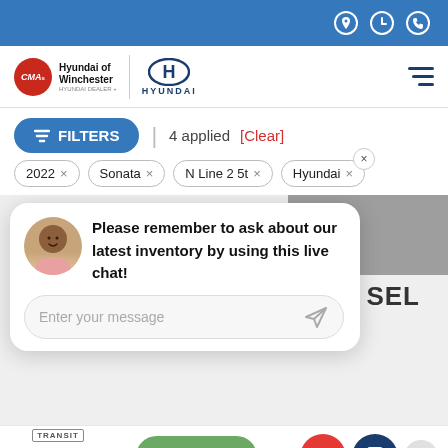Hyundai of Winchester - HYUNDAI (navigation bar with location, hours, phone icons)
[Figure (logo): CMA Hyundai of Winchester logo with Hyundai H emblem]
FILTERS  |  4 applied  [Clear]
2022 ×   Sonata ×   N Line 2 5t ×   Hyundai ×
[Figure (screenshot): Live chat popup with avatar: 'Please remember to ask about our latest inventory by using this live chat!' and message input 'Enter your message']
SEL
Fuel Economy: 27/37
Sell My Car